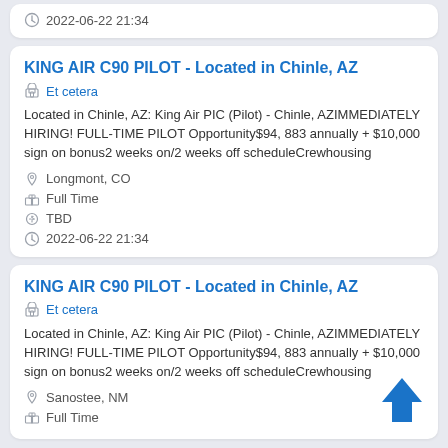2022-06-22 21:34
KING AIR C90 PILOT - Located in Chinle, AZ
Et cetera
Located in Chinle, AZ: King Air PIC (Pilot) - Chinle, AZIMMEDIATELY HIRING! FULL-TIME PILOT Opportunity$94, 883 annually + $10,000 sign on bonus2 weeks on/2 weeks off scheduleCrewhousing
Longmont, CO
Full Time
TBD
2022-06-22 21:34
KING AIR C90 PILOT - Located in Chinle, AZ
Et cetera
Located in Chinle, AZ: King Air PIC (Pilot) - Chinle, AZIMMEDIATELY HIRING! FULL-TIME PILOT Opportunity$94, 883 annually + $10,000 sign on bonus2 weeks on/2 weeks off scheduleCrewhousing
Sanostee, NM
Full Time